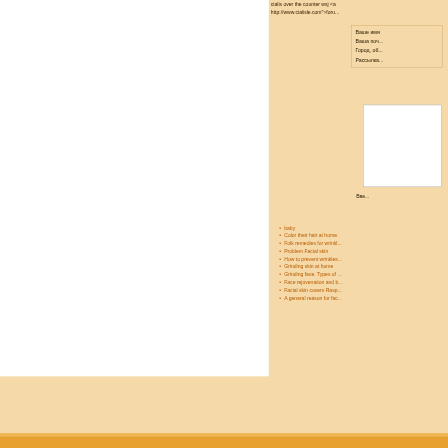cialis over the counter wsj <a href="http://www.cialisle.com">foru...
Ваше имя
Ваша поч...
Город, об...
Рассылка...
[Figure (other): White text input area / textarea box]
Вве...
baby
Color their hair at home
Folk remedies for wrinkl...
Problem Facial skin
How to prevent wrinkles...
Grinding skin at home
Grinding face. Types of ...
Face rejuvenation and b...
Facial skin covers Rasp...
A general reason for fac...